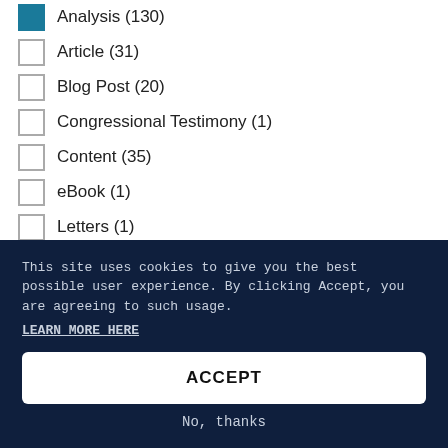Analysis (130) [checked]
Article (31)
Blog Post (20)
Congressional Testimony (1)
Content (35)
eBook (1)
Letters (1)
Page (10) [checked]
Podcast (3)
Press Release (221) [checked]
Videos (68)
This site uses cookies to give you the best possible user experience.  By clicking Accept, you are agreeing to such usage.
LEARN MORE HERE
ACCEPT
No, thanks